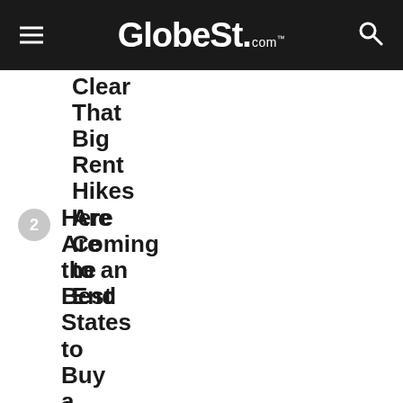GlobeSt.com
Clear That Big Rent Hikes Are Coming to an End
2 Here Are the Best States to Buy a Home Depending